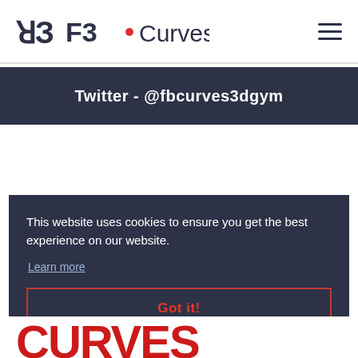[Figure (logo): FB Curves logo with stylized F3 letterform, red dot, and 'Curves' wordmark in dark navy, with hamburger menu icon on the right]
Twitter - @fbcurves3dgym
This website uses cookies to ensure you get the best experience on our website.
Learn more
Got it!
[Figure (logo): Red stylized text logo partially visible at the bottom of the page]